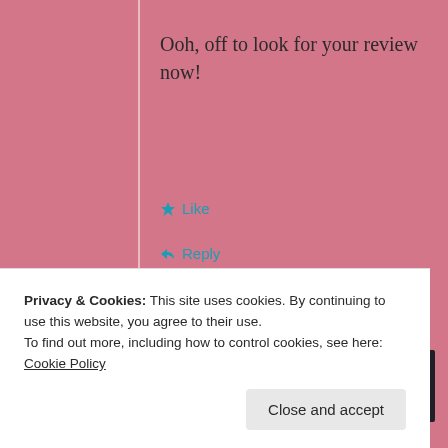Ooh, off to look for your review now!
★ Like
↪ Reply
Advertisements
[Figure (other): Advertisement banner for launching online course with WordPress. Dark background with circular logo, teal text 'Launch your online course with WordPress' and 'Learn More' button.]
Privacy & Cookies: This site uses cookies. By continuing to use this website, you agree to their use.
To find out more, including how to control cookies, see here: Cookie Policy
Close and accept